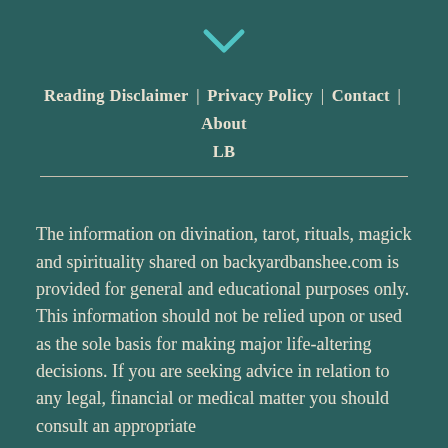[Figure (other): Teal/cyan downward chevron icon]
Reading Disclaimer | Privacy Policy | Contact | About LB
The information on divination, tarot, rituals, magick and spirituality shared on backyardbanshee.com is provided for general and educational purposes only. This information should not be relied upon or used as the sole basis for making major life-altering decisions. If you are seeking advice in relation to any legal, financial or medical matter you should consult an appropriate